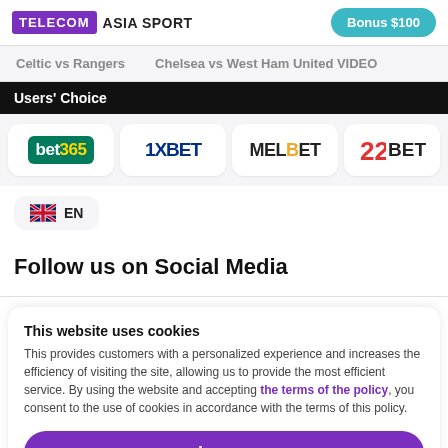TELECOM ASIA SPORT | Bonus $100
Celtic vs Rangers   Chelsea vs West Ham United VIDEO
Users' Choice
[Figure (logo): Bookmaker logos: bet365, 1XBET, MELBET, 22BET]
EN
Follow us on Social Media
This website uses cookies
This provides customers with a personalized experience and increases the efficiency of visiting the site, allowing us to provide the most efficient service. By using the website and accepting the terms of the policy, you consent to the use of cookies in accordance with the terms of this policy.
I agree